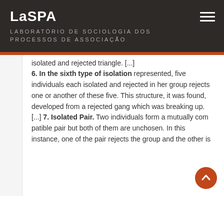LaSPA LABORATÓRIO DE SOCIOLOGIA DOS PROCESSOS DE ASSOCIAÇÃO
isolated and rejected triangle. [...] 6. In the sixth type of isolation represented, five individuals each isolated and rejected in her group rejects one or another of these five. This structure, it was found, developed from a rejected gang which was breaking up. [...] 7. Isolated Pair. Two individuals form a mutually com patible pair but both of them are unchosen. In this instance, one of the pair rejects the group and the other is